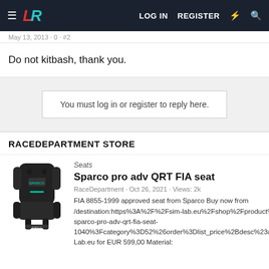LOG IN  REGISTER
May 13, 2013 · 0 · #2
Do not kitbash, thank you.
You must log in or register to reply here.
RACEDEPARTMENT STORE
[Figure (photo): Sparco pro adv QRT FIA racing seat, black color, shown from front angle]
Seats
Sparco pro adv QRT FIA seat
RaceDepartment · Oct 26, 2021 · Views: 2k
FIA 8855-1999 approved seat from Sparco Buy now from /destination:https%3A%2F%2Fsim-lab.eu%2Fshop%2Fproduct%2Fslr034-sparco-pro-adv-qrt-fia-seat-1040%3Fcategory%3D52%26order%3Dlist_price%2Bdesc%23attr%3D']Sim-Lab.eu for EUR 599,00 Material: